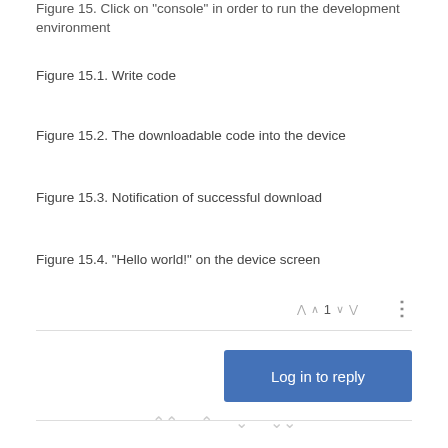Figure 15. Click on "console" in order to run the development environment
Figure 15.1. Write code
Figure 15.2. The downloadable code into the device
Figure 15.3. Notification of successful download
Figure 15.4. "Hello world!" on the device screen
^ 1 v
Log in to reply